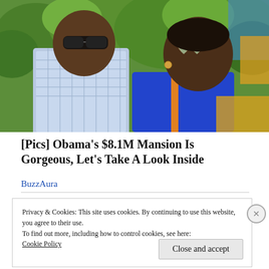[Figure (photo): Two people wearing sunglasses outdoors with green trees in the background. One person wears a blue/white checkered shirt, the other wears a blue top.]
[Pics] Obama's $8.1M Mansion Is Gorgeous, Let's Take A Look Inside
BuzzAura
Privacy & Cookies: This site uses cookies. By continuing to use this website, you agree to their use.
To find out more, including how to control cookies, see here:
Cookie Policy
Close and accept